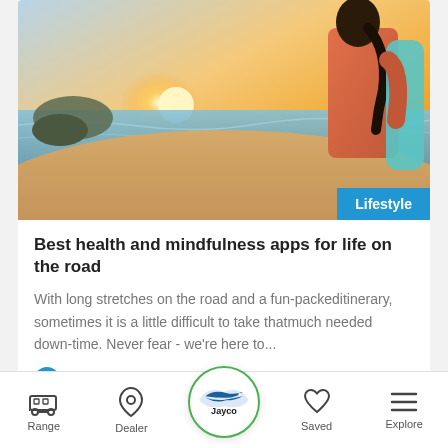[Figure (photo): Woman in coral/pink top holding a yoga mat, viewed from behind, looking at a beach sunset scene with rocks and ocean]
Lifestyle
Best health and mindfulness apps for life on the road
With long stretches on the road and a fun-packed itinerary, sometimes it is a little difficult to take that much needed down-time. Never fear - we're here to...
Read more
Range | Dealer | Jayco | Saved | Explore